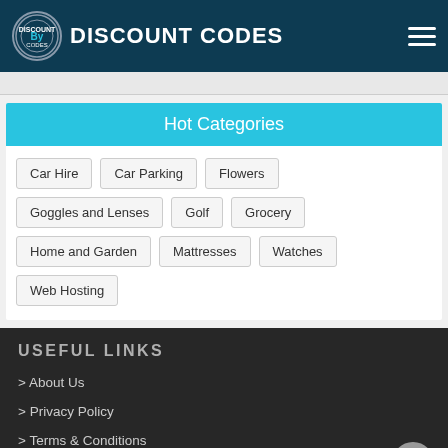DISCOUNT CODES
Hot Categories
Car Hire
Car Parking
Flowers
Goggles and Lenses
Golf
Grocery
Home and Garden
Mattresses
Watches
Web Hosting
USEFUL LINKS
> About Us
> Privacy Policy
> Terms & Conditions
> Cookies Policy